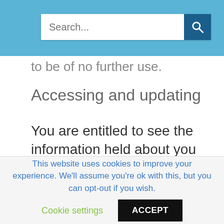Search...
to be of no further use.
Accessing and updating
You are entitled to see the information held about you and you may ask us to make any necessary changes to ensure that it is accurate and kept up to date. If you wish to do this, please contact us either in writing at our head office address or by email at
This website uses cookies to improve your experience. We'll assume you're ok with this, but you can opt-out if you wish.
Cookie settings
ACCEPT